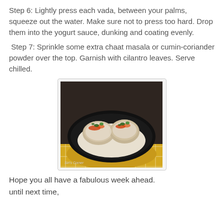Step 6: Lightly press each vada, between your palms, squeeze out the water. Make sure not to press too hard. Drop them into the yogurt sauce, dunking and coating evenly.
Step 7: Sprinkle some extra chaat masala or cumin-coriander powder over the top. Garnish with cilantro leaves. Serve chilled.
[Figure (photo): A black plate with two vadas (lentil dumplings) coated in white yogurt sauce, garnished with green cilantro leaves and red spice powder, placed on a yellow and white patterned cloth. Watermark reads Siri's Corner.]
Hope you all have a fabulous week ahead.
until next time,